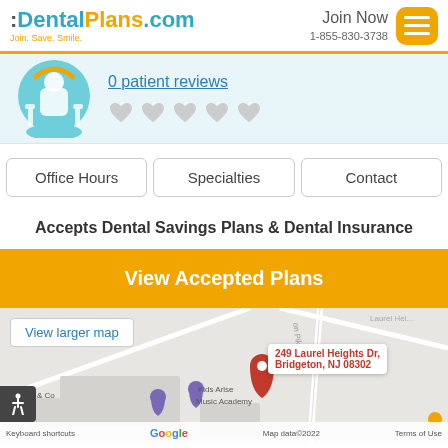:DentalPlans.com Join. Save. Smile. | Join Now 1-855-830-3738
0 patient reviews
[Figure (infographic): Navigation buttons: Office Hours, Specialties, Contact]
Accepts Dental Savings Plans & Dental Insurance
View Accepted Plans
[Figure (map): Google Map showing 249 Laurel Heights Dr, Bridgeton, NJ 08302 with a red pin marker. Labels: Kids Arise Music Academy, Red Hawk & Co. View larger map button visible.]